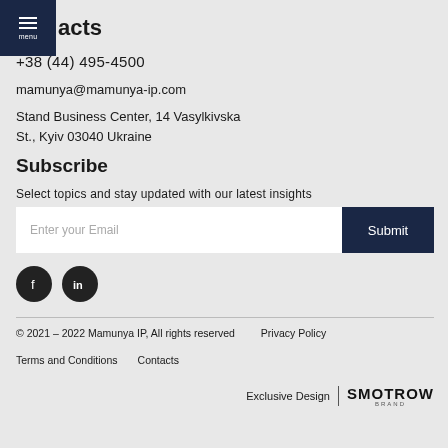acts
+38 (044) 495-4500
mamunya@mamunya-ip.com
Stand Business Center, 14 Vasylkivska St., Kyiv 03040 Ukraine
Subscribe
Select topics and stay updated with our latest insights
Enter your Email  Submit
[Figure (other): Social media icons: Facebook and LinkedIn circular dark buttons]
© 2021 – 2022 Mamunya IP, All rights reserved    Privacy Policy    Terms and Conditions    Contacts    Exclusive Design | SMOTROW